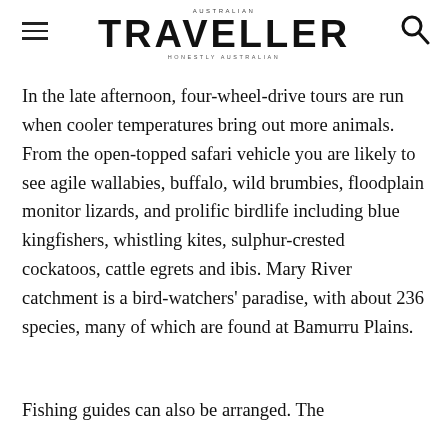AUSTRALIAN TRAVELLER HONESTLY AUSTRALIAN
In the late afternoon, four-wheel-drive tours are run when cooler temperatures bring out more animals. From the open-topped safari vehicle you are likely to see agile wallabies, buffalo, wild brumbies, floodplain monitor lizards, and prolific birdlife including blue kingfishers, whistling kites, sulphur-crested cockatoos, cattle egrets and ibis. Mary River catchment is a bird-watchers' paradise, with about 236 species, many of which are found at Bamurru Plains.
Fishing guides can also be arranged. The